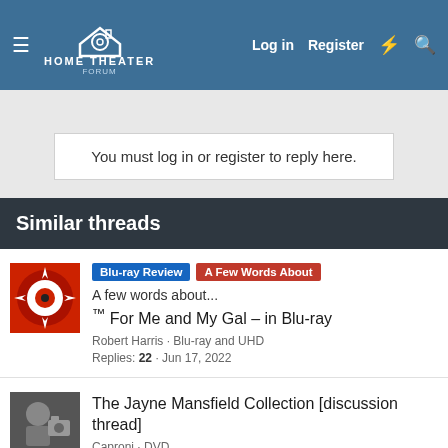Home Theater Forum — Log in | Register
You must log in or register to reply here.
Similar threads
Blu-ray Review | A Few Words About | A few words about... ™ For Me and My Gal – in Blu-ray | Robert Harris · Blu-ray and UHD | Replies: 22 · Jun 17, 2022
The Jayne Mansfield Collection [discussion thread] | Caproni · DVD | Replies: 46 · May 9, 2022
A RAISIN IN THE SUN - AN APPRECIATION | Dick · Blu-ray and UHD | Replies: 0 · Mar 1, 2022